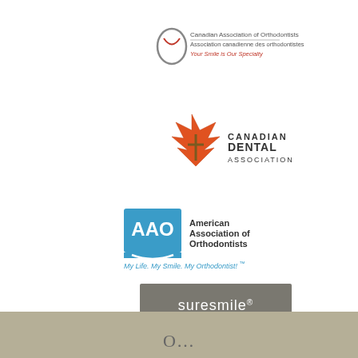[Figure (logo): Canadian Association of Orthodontists logo with stylized face icon, text 'Canadian Association of Orthodontists / Association canadienne des orthodontistes / Your Smile is Our Specialty']
[Figure (logo): Canadian Dental Association logo with maple leaf and dental cross symbol]
[Figure (logo): American Association of Orthodontists (AAO) logo with blue square and text, tagline 'My Life. My Smile. My Orthodontist!']
[Figure (logo): Suresmile logo — white text on grey/brown rectangle background]
[Figure (logo): Invisalign logo — blue asterisk/snowflake icon with 'invisalign' wordmark in teal]
O...